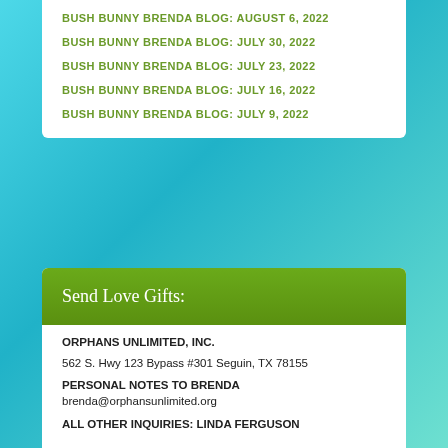BUSH BUNNY BRENDA BLOG: AUGUST 6, 2022
BUSH BUNNY BRENDA BLOG: JULY 30, 2022
BUSH BUNNY BRENDA BLOG: JULY 23, 2022
BUSH BUNNY BRENDA BLOG: JULY 16, 2022
BUSH BUNNY BRENDA BLOG: JULY 9, 2022
Send Love Gifts:
ORPHANS UNLIMITED, INC.
562 S. Hwy 123 Bypass #301 Seguin, TX 78155
PERSONAL NOTES TO BRENDA
brenda@orphansunlimited.org
ALL OTHER INQUIRIES: LINDA FERGUSON